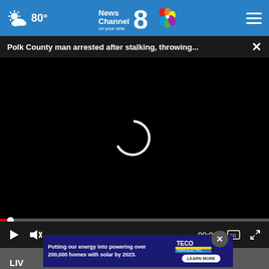80° News Channel 8 on your side
Polk County man arrested after stalking, throwing... ×
[Figure (screenshot): Video player with black background and white loading spinner, showing video controls including play button, mute button, timecode 00:00, captions and fullscreen icons. A red progress bar dot is at the left edge.]
[Figure (screenshot): Bottom of page showing partially visible news image with 'LIV' text overlay and partial text below it. An advertisement banner reads 'Putting our energy into powering over 200,000 homes with solar by 2023.' with TECO Tampa Electric logo and Learn More button.]